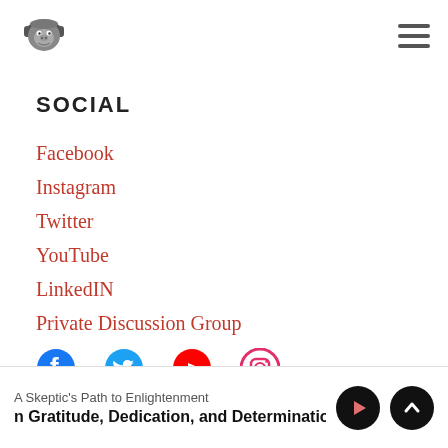[Figure (logo): Gorilla wearing headphones logo in gray/dark tones]
SOCIAL
Facebook
Instagram
Twitter
YouTube
LinkedIN
Private Discussion Group
[Figure (illustration): Row of social media icons: Facebook (blue), Twitter (blue), YouTube (red), Instagram (pink/red outline)]
A Skeptic's Path to Enlightenment
n Gratitude, Dedication, and Determination